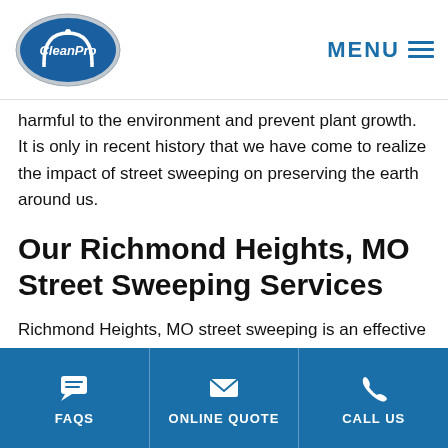[Figure (logo): CleanPro logo - oval blue badge with white text and arch icon]
MENU
harmful to the environment and prevent plant growth. It is only in recent history that we have come to realize the impact of street sweeping on preserving the earth around us.
Our Richmond Heights, MO Street Sweeping Services
Richmond Heights, MO street sweeping is an effective maintenance solution that requires little effort on your part and is one of the best ways for you to provide ongoing value to your property. Partner with a reputable Richmond
FAQS | ONLINE QUOTE | CALL US